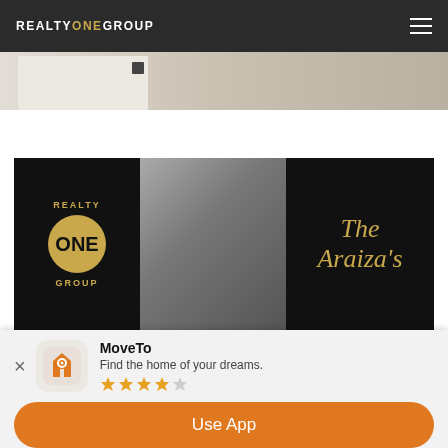REALTY ONE GROUP
[Figure (photo): Hero image strip showing a dresser with drawer and floor, partial view of shoes]
[Figure (photo): Banner showing Realty ONE Group logo on the left, couple photo in middle, and 'The Araiza's' gold script text on right against black background]
Buying A Home In The Phoenix Real Estate Market
MoveTo
Find the home of your dreams.
★★★★☆
Use App